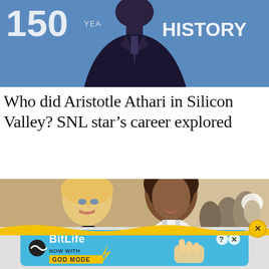[Figure (photo): Man in dark suit and tie standing in front of a blue backdrop with partial text showing '150' and 'HISTORY']
Who did Aristotle Athari in Silicon Valley? SNL star's career explored
[Figure (photo): Two women smiling at an outdoor event — an older blonde woman in a black top and a younger woman with curly hair in a white top]
[Figure (other): BitLife advertisement banner: 'NOW WITH GOD MODE' on a light blue background with game-style graphics]